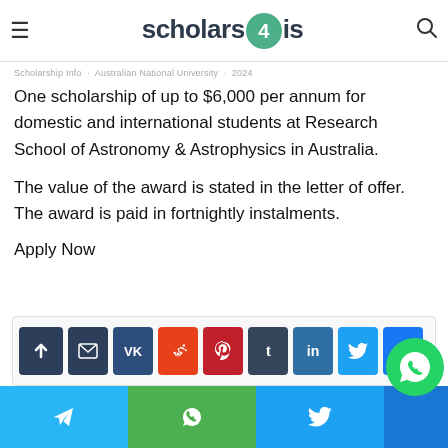scholars4is
One scholarship of up to $6,000 per annum for domestic and international students at Research School of Astronomy & Astrophysics in Australia.
The value of the award is stated in the letter of offer. The award is paid in fortnightly instalments.
Apply Now
[Figure (other): Social share buttons row: up arrow, email, VK, Reddit, Pinterest, Tumblr, LinkedIn, Twitter, Facebook]
Telegram, WhatsApp, Twitter, and another share buttons footer bar